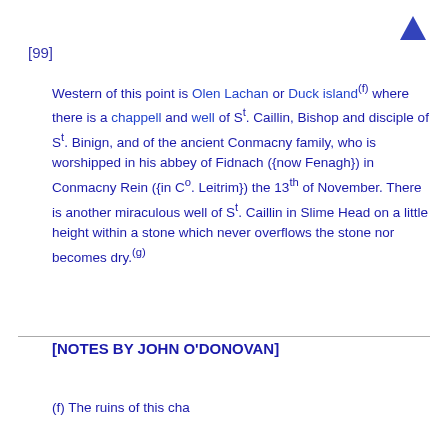[99]
Western of this point is Olen Lachan or Duck island(f) where there is a chappell and well of St. Caillin, Bishop and disciple of St. Binign, and of the ancient Conmacny family, who is worshipped in his abbey of Fidnach ({now Fenagh}) in Conmacny Rein ({in Co. Leitrim}) the 13th of November. There is another miraculous well of St. Caillin in Slime Head on a little height within a stone which never overflows the stone nor becomes dry.(g)
[NOTES BY JOHN O'DONOVAN]
(f) The ruins of this cha...